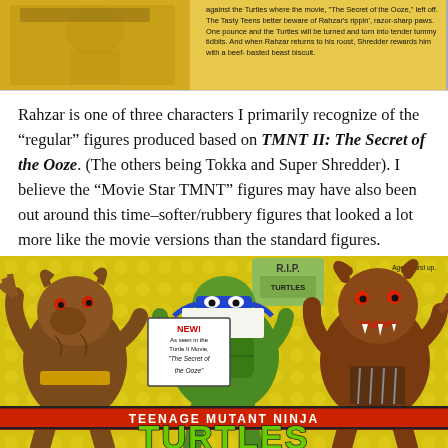[Figure (photo): Top strip showing yellow background on left with toy figure, and text column on right describing Rahzar attacking the Turtles where the movie left off, with razor-sharp paws description.]
Rahzar is one of three characters I primarily recognize of the “regular” figures produced based on TMNT II: The Secret of the Ooze. (The others being Tokka and Super Shredder). I believe the “Movie Star TMNT” figures may have also been out around this time–softer/rubbery figures that looked a lot more like the movie versions than the standard figures.
[Figure (photo): TMNT II: The Secret of the Ooze action figure box art showing Rahzar (werewolf-like character) on left and right, Leonardo (turtle with blue mask) in center, yellow dot background, RIP Turtles tombstone, NEW! badge reading 'As seen in the Turtle II Movie, The Secret of the Ooze', Ages 4 and up label, red Teenage Mutant Ninja Turtles banner, and large green TURTLES logo at bottom.]